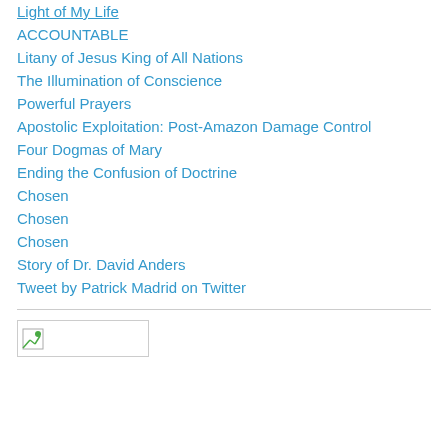Light of My Life
ACCOUNTABLE
Litany of Jesus King of All Nations
The Illumination of Conscience
Powerful Prayers
Apostolic Exploitation: Post-Amazon Damage Control
Four Dogmas of Mary
Ending the Confusion of Doctrine
Chosen
Chosen
Chosen
Story of Dr. David Anders
Tweet by Patrick Madrid on Twitter
[Figure (other): Broken image placeholder with small icon]